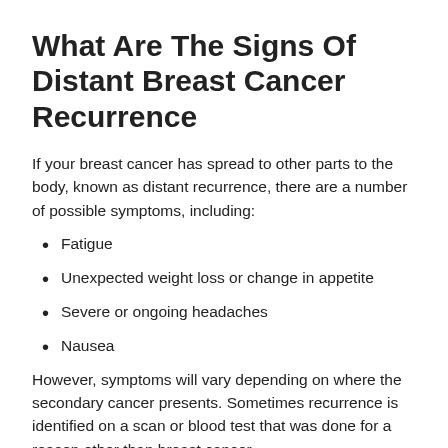What Are The Signs Of Distant Breast Cancer Recurrence
If your breast cancer has spread to other parts to the body, known as distant recurrence, there are a number of possible symptoms, including:
Fatigue
Unexpected weight loss or change in appetite
Severe or ongoing headaches
Nausea
However, symptoms will vary depending on where the secondary cancer presents. Sometimes recurrence is identified on a scan or blood test that was done for a reason other than breast cancer.